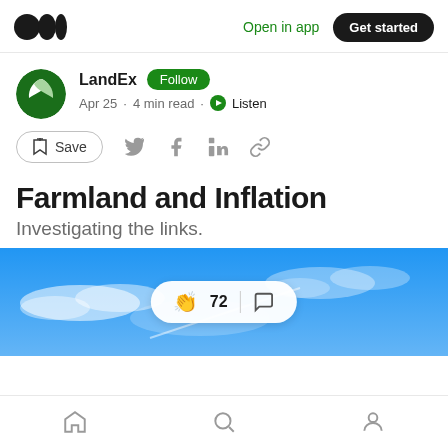Open in app  Get started
LandEx  Follow
Apr 25 · 4 min read · Listen
Save
Farmland and Inflation
Investigating the links.
[Figure (photo): Blue sky with clouds, article hero image with 72 claps and comment interaction pill overlay]
Home  Search  Profile